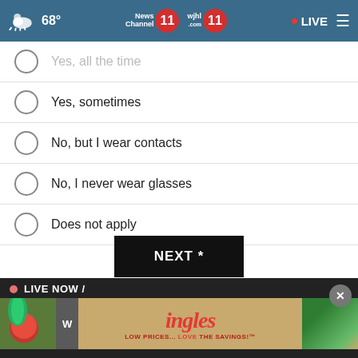68° News Channel 11 wjhl 11 • LIVE
Yes, all the time
Yes, sometimes
No, but I wear contacts
No, I never wear glasses
Does not apply
NEXT *
* By clicking "NEXT" you agree to the following: We use cookies to track your survey answers. If you would like to continue with this survey, please read and agree to the CivicScience Privacy Policy and Terms of Service
[Figure (screenshot): LIVE NOW / advertisement banner for Ingles grocery store with tagline LOW PRICES... LOVE THE SAVINGS!]